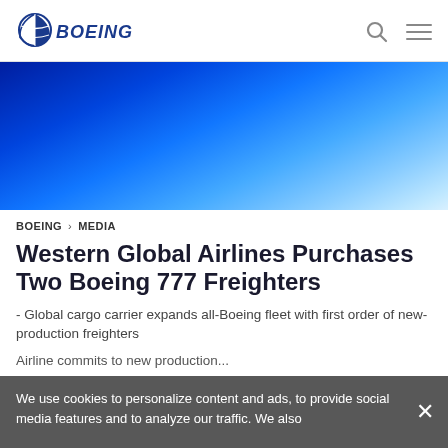[Figure (logo): Boeing logo — stylized globe arc with 'BOEING' text in blue italic capitals]
[Figure (illustration): Blue gradient hero banner, transitioning from dark navy blue on the left to light sky blue on the right]
BOEING > MEDIA
Western Global Airlines Purchases Two Boeing 777 Freighters
- Global cargo carrier expands all-Boeing fleet with first order of new-production freighters
Airline commits to new production...
We use cookies to personalize content and ads, to provide social media features and to analyze our traffic. We also